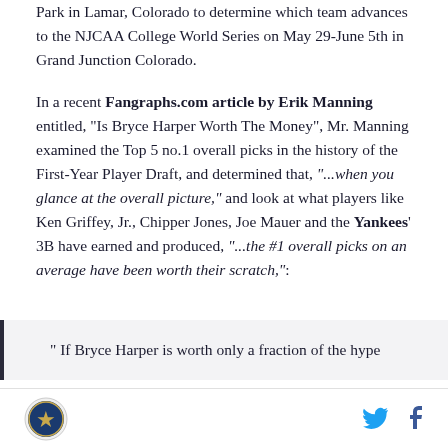Park in Lamar, Colorado to determine which team advances to the NJCAA College World Series on May 29-June 5th in Grand Junction Colorado.
In a recent Fangraphs.com article by Erik Manning entitled, "Is Bryce Harper Worth The Money", Mr. Manning examined the Top 5 no.1 overall picks in the history of the First-Year Player Draft, and determined that, "...when you glance at the overall picture," and look at what players like Ken Griffey, Jr., Chipper Jones, Joe Mauer and the Yankees' 3B have earned and produced, "...the #1 overall picks on an average have been worth their scratch,":
" If Bryce Harper is worth only a fraction of the hype